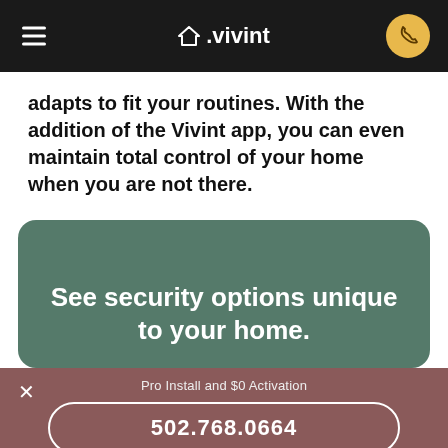Vivint
adapts to fit your routines. With the addition of the Vivint app, you can even maintain total control of your home when you are not there.
[Figure (other): Green rounded card with promotional text: See security options unique to your home.]
Pro Install and $0 Activation
502.768.0664